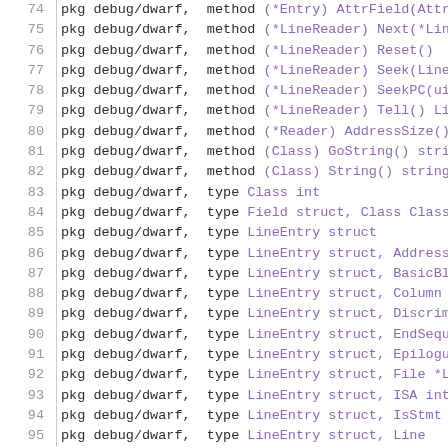74  pkg debug/dwarf, method (*Entry) AttrField(Attr
75  pkg debug/dwarf, method (*LineReader) Next(*Lin
76  pkg debug/dwarf, method (*LineReader) Reset()
77  pkg debug/dwarf, method (*LineReader) Seek(LineR
78  pkg debug/dwarf, method (*LineReader) SeekPC(ui
79  pkg debug/dwarf, method (*LineReader) Tell() Li
80  pkg debug/dwarf, method (*Reader) AddressSize()
81  pkg debug/dwarf, method (Class) GoString() stri
82  pkg debug/dwarf, method (Class) String() string
83  pkg debug/dwarf, type Class int
84  pkg debug/dwarf, type Field struct, Class Class
85  pkg debug/dwarf, type LineEntry struct
86  pkg debug/dwarf, type LineEntry struct, Address
87  pkg debug/dwarf, type LineEntry struct, BasicBl
88  pkg debug/dwarf, type LineEntry struct, Column
89  pkg debug/dwarf, type LineEntry struct, Discrim
90  pkg debug/dwarf, type LineEntry struct, EndSequ
91  pkg debug/dwarf, type LineEntry struct, Epilogue
92  pkg debug/dwarf, type LineEntry struct, File *L
93  pkg debug/dwarf, type LineEntry struct, ISA int
94  pkg debug/dwarf, type LineEntry struct, IsStmt
95  pkg debug/dwarf, type LineEntry struct, Line